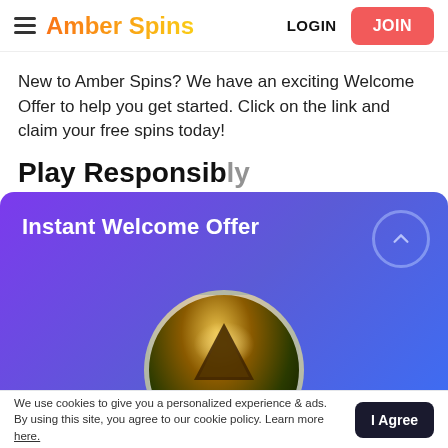Amber Spins — LOGIN | JOIN
New to Amber Spins? We have an exciting Welcome Offer to help you get started. Click on the link and claim your free spins today!
Play Responsibly
[Figure (screenshot): Instant Welcome Offer promotional panel with purple-to-blue gradient background, chevron-up circle button, and Gonzo's Quest game circular image]
We use cookies to give you a personalized experience & ads. By using this site, you agree to our cookie policy. Learn more here.